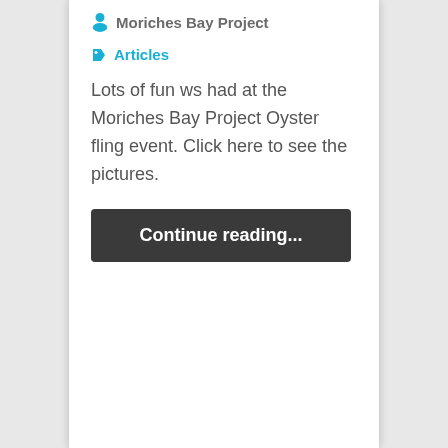Moriches Bay Project
Articles
Lots of fun ws had at the Moriches Bay Project Oyster fling event. Click here to see the pictures.
Continue reading...